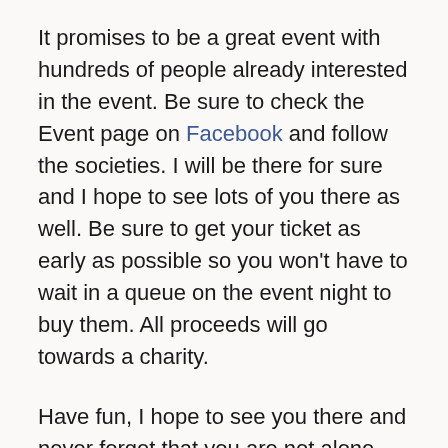It promises to be a great event with hundreds of people already interested in the event. Be sure to check the Event page on Facebook and follow the societies. I will be there for sure and I hope to see lots of you there as well. Be sure to get your ticket as early as possible so you won't have to wait in a queue on the event night to buy them. All proceeds will go towards a charity.
Have fun, I hope to see you there and never forget that you are not alone and there are people there to help you in tough moments.
Organizers: